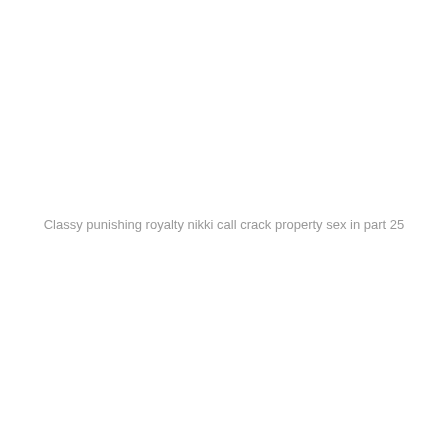Classy punishing royalty nikki call crack property sex in part 25